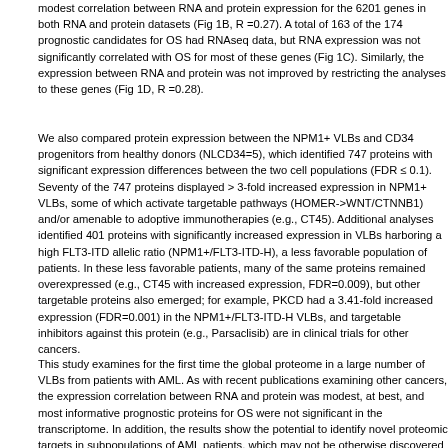modest correlation between RNA and protein expression for the 6201 genes in both RNA and protein datasets (Fig 1B, R =0.27). A total of 163 of the 174 prognostic candidates for OS had RNAseq data, but RNA expression was not significantly correlated with OS for most of these genes (Fig 1C). Similarly, the expression between RNA and protein was not improved by restricting the analyses to these genes (Fig 1D, R =0.28).
We also compared protein expression between the NPM1+ VLBs and CD34 progenitors from healthy donors (NLCD34=5), which identified 747 proteins with significant expression differences between the two cell populations (FDR ≤ 0.1). Seventy of the 747 proteins displayed > 3-fold increased expression in NPM1+ VLBs, some of which activate targetable pathways (HOMER->WNT/CTNNB1) and/or amenable to adoptive immunotherapies (e.g., CT45). Additional analyses identified 401 proteins with significantly increased expression in VLBs harboring a high FLT3-ITD allelic ratio (NPM1+/FLT3-ITD-H), a less favorable population of patients. In these less favorable patients, many of the same proteins remained overexpressed (e.g., CT45 with increased expression, FDR=0.009), but other targetable proteins also emerged; for example, PKCD had a 3.41-fold increased expression (FDR=0.001) in the NPM1+/FLT3-ITD-H VLBs, and targetable inhibitors against this protein (e.g., Parsaclisib) are in clinical trials for other cancers.
This study examines for the first time the global proteome in a large number of VLBs from patients with AML. As with recent publications examining other cancers, the expression correlation between RNA and protein was modest, at best, and most informative prognostic proteins for OS were not significant in the transcriptome. In addition, the results show the potential to identify novel proteomic targets in subpopulations of AML patients, which may not be otherwise discovered using